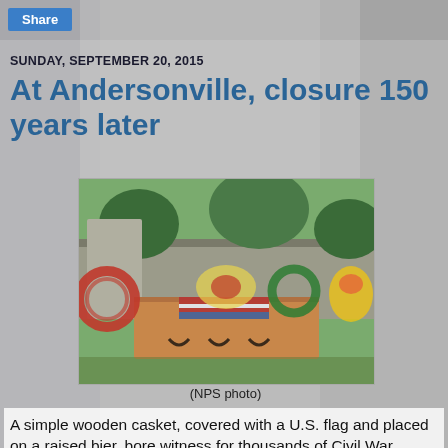Share
SUNDAY, SEPTEMBER 20, 2015
At Andersonville, closure 150 years later
[Figure (photo): A simple wooden casket on a raised bier, surrounded by floral wreaths with American flags, set against a stone wall backdrop at Andersonville National Historic Site.]
(NPS photo)
A simple wooden casket, covered with a U.S. flag and placed on a raised bier, bore witness for thousands of Civil War soldiers who died while under the guard of fellow Americans.